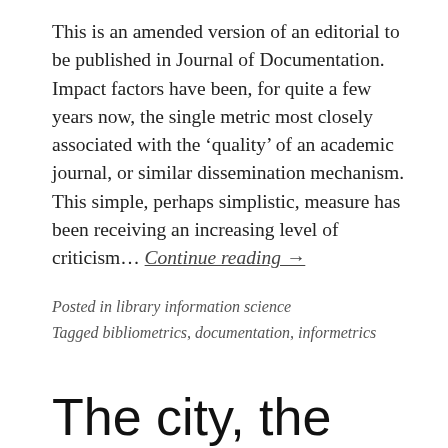This is an amended version of an editorial to be published in Journal of Documentation. Impact factors have been, for quite a few years now, the single metric most closely associated with the 'quality' of an academic journal, or similar dissemination mechanism. This simple, perhaps simplistic, measure has been receiving an increasing level of criticism… Continue reading →
Posted in library information science
Tagged bibliometrics, documentation, informetrics
The city, the world, what cannot be